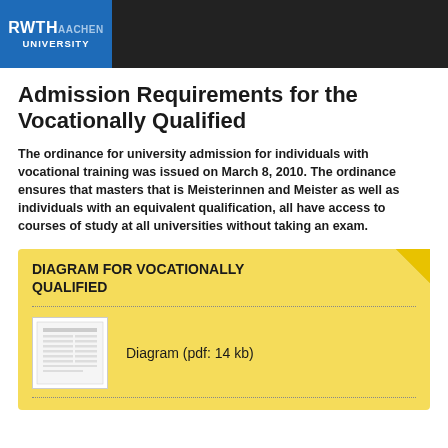RWTH AACHEN UNIVERSITY
Admission Requirements for the Vocationally Qualified
The ordinance for university admission for individuals with vocational training was issued on March 8, 2010. The ordinance ensures that masters that is Meisterinnen and Meister as well as individuals with an equivalent qualification, all have access to courses of study at all universities without taking an exam.
DIAGRAM FOR VOCATIONALLY QUALIFIED
[Figure (other): PDF thumbnail showing a table/diagram document]
Diagram (pdf: 14 kb)